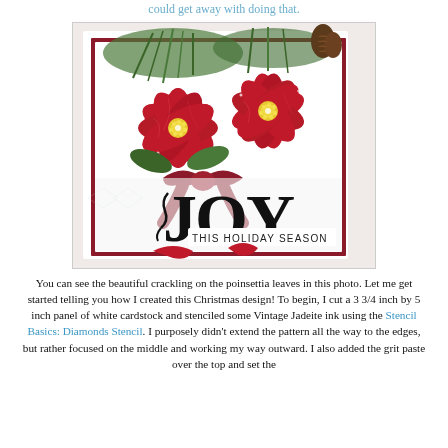could get away with doing that.
[Figure (photo): Close-up photo of a handmade Christmas card featuring two red poinsettia flowers with yellow centers, green pine branches, a dark red bow, and text reading 'JOY THIS HOLIDAY SEASON' in black decorative lettering on a white background.]
You can see the beautiful crackling on the poinsettia leaves in this photo. Let me get started telling you how I created this Christmas design! To begin, I cut a 3 3/4 inch by 5 inch panel of white cardstock and stenciled some Vintage Jadeite ink using the Stencil Basics: Diamonds Stencil. I purposely didn't extend the pattern all the way to the edges, but rather focused on the middle and working my way outward. I also added the grit paste over the top and set the